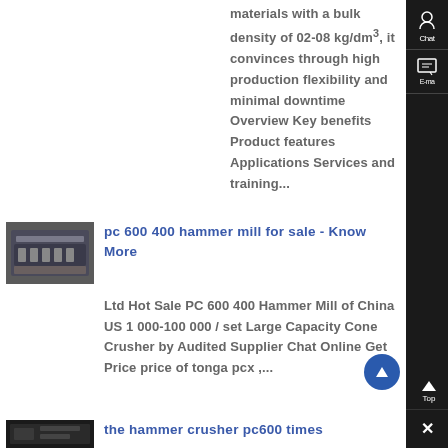materials with a bulk density of 02-08 kg/dm³, it convinces through high production flexibility and minimal downtime Overview Key benefits Product features Applications Services and training...
[Figure (photo): Industrial hammer mill / vibrating screen machine, dark gray metallic equipment]
pc 600 400 hammer mill for sale - Know More
Ltd Hot Sale PC 600 400 Hammer Mill of China US 1 000-100 000 / set Large Capacity Cone Crusher by Audited Supplier Chat Online Get Price price of tonga pcx ,...
[Figure (photo): Industrial hammer crusher machine, dark image]
the hammer crusher pc600 times